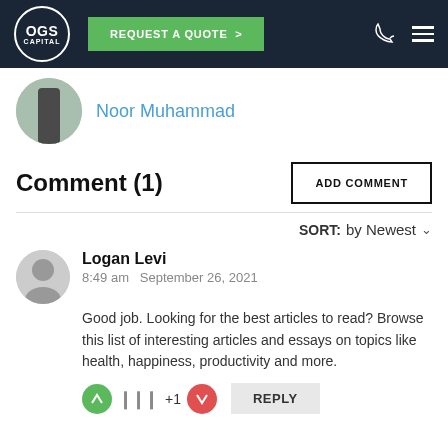OGS CAPITAL — REQUEST A QUOTE
Noor Muhammad
Comment (1)
ADD COMMENT
SORT: by Newest
Logan Levi
8:49 am   September 26, 2021
Good job. Looking for the best articles to read? Browse this list of interesting articles and essays on topics like health, happiness, productivity and more.
+1   REPLY